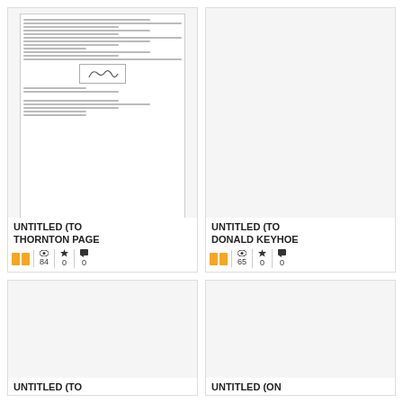[Figure (screenshot): Document card thumbnail showing a scanned letter with text lines and a signature block]
UNTITLED (TO THORNTON PAGE
[Figure (infographic): Stats row: book icon, eye icon with 84 views, star icon with 0 favorites, comment icon with 0 comments]
[Figure (screenshot): Document card thumbnail showing a blank/white document page]
UNTITLED (TO DONALD KEYHOE
[Figure (infographic): Stats row: book icon, eye icon with 65 views, star icon with 0 favorites, comment icon with 0 comments]
[Figure (screenshot): Document card thumbnail showing a blank/white document page (bottom left)]
UNTITLED (TO
[Figure (screenshot): Document card thumbnail showing a blank/white document page (bottom right)]
UNTITLED (ON